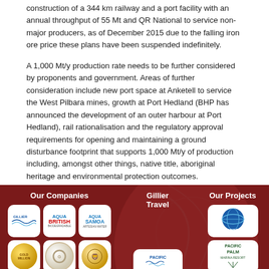construction of a 344 km railway and a port facility with an annual throughput of 55 Mt and QR National to service non-major producers, as of December 2015 due to the falling iron ore price these plans have been suspended indefinitely.
A 1,000 Mt/y production rate needs to be further considered by proponents and government. Areas of further consideration include new port space at Anketell to service the West Pilbara mines, growth at Port Hedland (BHP has announced the development of an outer harbour at Port Hedland), rail rationalisation and the regulatory approval requirements for opening and maintaining a ground disturbance footprint that supports 1,000 Mt/y of production including, amongst other things, native title, aboriginal heritage and environmental protection outcomes.
[Figure (infographic): Dark red footer section with company logo grid. Sections labeled 'Our Companies', 'Gillier Travel', and 'Our Projects'. Company logos include Gillier, Aqua British, Aqua Samoa Artesian Water, gold coin logos, Pacific Escapes, Pacific Palm Marina Resort, and The Universe globe logo.]